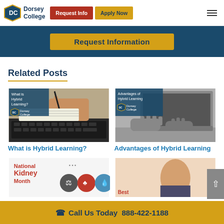Dorsey College | Request Info | Apply Now
Request Information
Related Posts
[Figure (photo): Person writing in notebook next to laptop - What is Hybrid Learning? Dorsey College thumbnail]
[Figure (photo): Person typing on laptop keyboard - Advantages of Hybrid Learning - Dorsey College thumbnail]
What is Hybrid Learning?
Advantages of Hybrid Learning
[Figure (photo): National Kidney Month infographic with icons]
[Figure (photo): Person portrait image, partially visible]
Call Us Today 888-422-1188